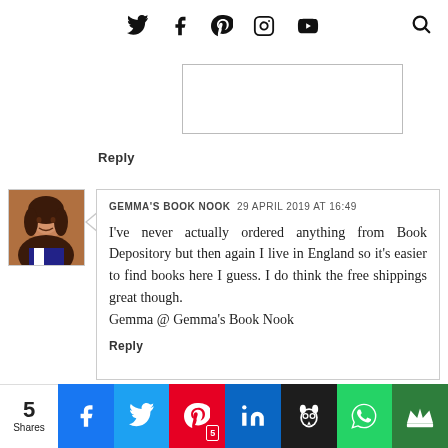Social media nav icons: Twitter, Facebook, Pinterest, Instagram, YouTube, Search
Reply
GEMMA'S BOOK NOOK  29 APRIL 2019 AT 16:49

I've never actually ordered anything from Book Depository but then again I live in England so it's easier to find books here I guess. I do think the free shippings great though.
Gemma @ Gemma's Book Nook
Reply
5 Shares | Facebook | Twitter | Pinterest 5 | LinkedIn | Hootsuite | WhatsApp | King